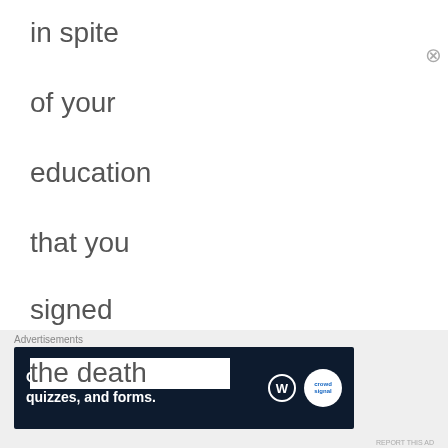in spite
of your
education
that you
signed
the death
Advertisements
Create surveys, polls, quizzes, and forms.